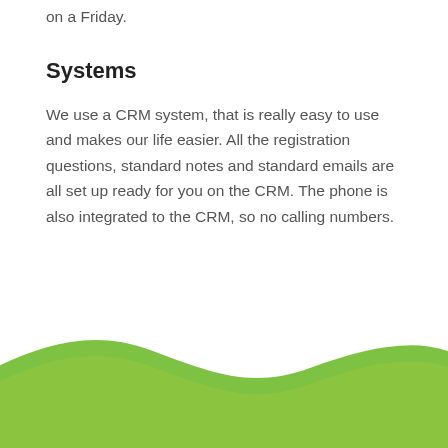on a Friday.
Systems
We use a CRM system, that is really easy to use and makes our life easier. All the registration questions, standard notes and standard emails are all set up ready for you on the CRM. The phone is also integrated to the CRM, so no calling numbers.
[Figure (illustration): Green wave / ribbon decorative element at the bottom of the page]